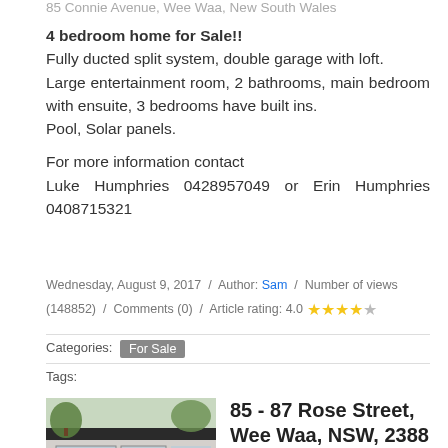85 Connie Avenue, Wee Waa, New South Wales
4 bedroom home for Sale!!
Fully ducted split system, double garage with loft.
Large entertainment room, 2 bathrooms, main bedroom with ensuite, 3 bedrooms have built ins.
Pool, Solar panels.
For more information contact
Luke Humphries 0428957049 or Erin Humphries 0408715321
Wednesday, August 9, 2017 / Author: Sam / Number of views (148852) / Comments (0) / Article rating: 4.0 ★★★★☆
Categories: For Sale
Tags:
[Figure (photo): Storefront of a shop on a street, with glass windows and covered walkway, trees visible]
85 - 87 Rose Street, Wee Waa, NSW, 2388
Commercial Investment Opportunity
Long Term Lease in Main Street